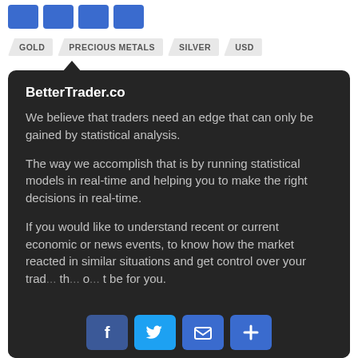[Figure (other): Row of four blue social share icon buttons at the top of the page]
GOLD
PRECIOUS METALS
SILVER
USD
BetterTrader.co
We believe that traders need an edge that can only be gained by statistical analysis.
The way we accomplish that is by running statistical models in real-time and helping you to make the right decisions in real-time.
If you would like to understand recent or current economic or news events, to know how the market reacted in similar situations and get control over your trad... th... o... t be for you.
[Figure (other): Row of four social share buttons at the bottom: Facebook, Twitter, Email, More (plus icon)]